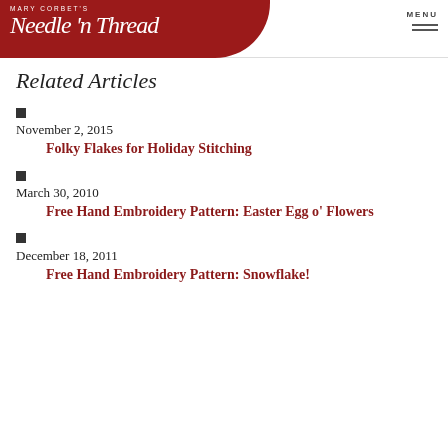Mary Corbet's Needle 'n Thread — MENU
Related Articles
November 2, 2015
Folky Flakes for Holiday Stitching
March 30, 2010
Free Hand Embroidery Pattern: Easter Egg o' Flowers
December 18, 2011
Free Hand Embroidery Pattern: Snowflake!